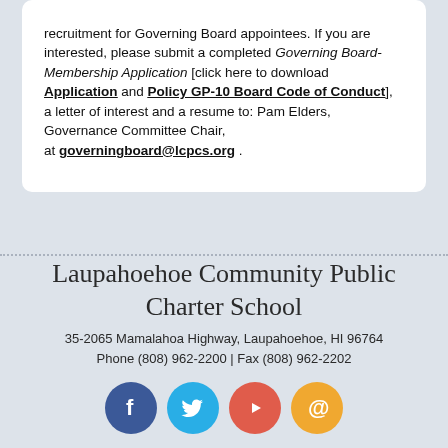recruitment for Governing Board appointees. If you are interested, please submit a completed Governing Board-Membership Application [click here to download Application and Policy GP-10 Board Code of Conduct], a letter of interest and a resume to: Pam Elders, Governance Committee Chair, at governingboard@lcpcs.org .
Laupahoehoe Community Public Charter School
35-2065 Mamalahoa Highway, Laupahoehoe, HI 96764
Phone (808) 962-2200 | Fax (808) 962-2202
[Figure (infographic): Four social media icon circles: Facebook (blue), Twitter (light blue), YouTube (red-orange), Email at-sign (orange)]
Website by SchoolMessenger Presence. © 2022 Intrado Corporation. All rights reserved.